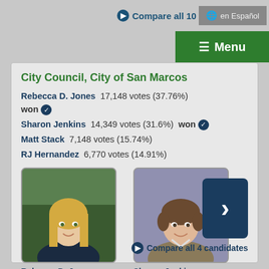Compare all 10   en Español
≡ Menu
City Council, City of San Marcos
Rebecca D. Jones  17,148 votes (37.76%)  won ✓
Sharon Jenkins  14,349 votes (31.6%)  won ✓
Matt Stack  7,148 votes (15.74%)
RJ Hernandez  6,770 votes (14.91%)
[Figure (photo): Photo of Rebecca D. Jones, a woman with long blonde hair]
Rebecca D. Jones
[Figure (photo): Photo of Sharon Jenkins, a woman with short brown hair]
Sharon Jenkins
Compare all 4 candidates